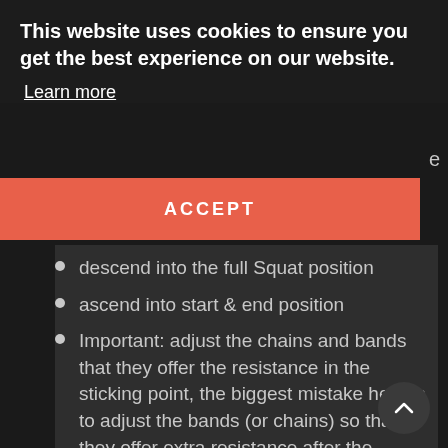information on the different classifications
This website uses cookies to ensure you get the best experience on our website.
Learn more
ACCEPT
descend into the full Squat position
ascend into start & end position
Important: adjust the chains and bands that they offer the resistance in the sticking point, the biggest mistake here is to adjust the bands (or chains) so that they offer extra resistance after the sticking point